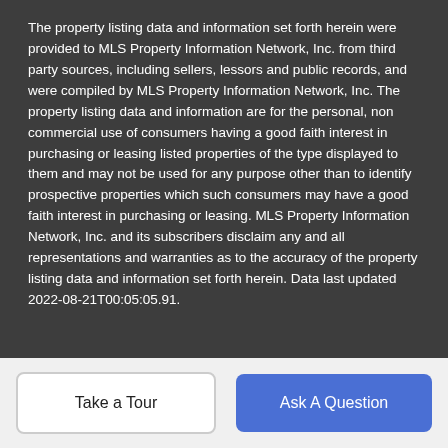The property listing data and information set forth herein were provided to MLS Property Information Network, Inc. from third party sources, including sellers, lessors and public records, and were compiled by MLS Property Information Network, Inc. The property listing data and information are for the personal, non commercial use of consumers having a good faith interest in purchasing or leasing listed properties of the type displayed to them and may not be used for any purpose other than to identify prospective properties which such consumers may have a good faith interest in purchasing or leasing. MLS Property Information Network, Inc. and its subscribers disclaim any and all representations and warranties as to the accuracy of the property listing data and information set forth herein. Data last updated 2022-08-21T00:05:05.91.
©2020 BHH Affiliates, LLC. An independently owned and operated franchise of BHH Affiliates, LLC. Berkshire Hathaway...